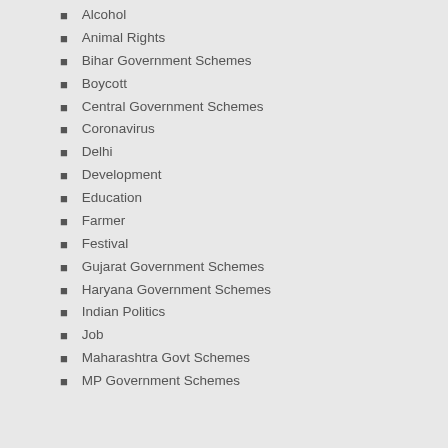Alcohol
Animal Rights
Bihar Government Schemes
Boycott
Central Government Schemes
Coronavirus
Delhi
Development
Education
Farmer
Festival
Gujarat Government Schemes
Haryana Government Schemes
Indian Politics
Job
Maharashtra Govt Schemes
MP Government Schemes